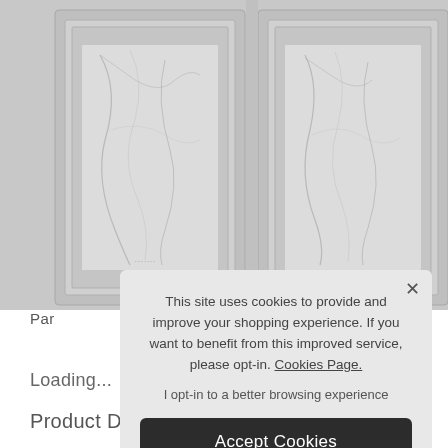[Figure (photo): Two decorative cabinet door panels with marble-look inset tiles, shown in grayscale. The cabinet frames have raised panel molding detail.]
Par
Loading...
Product Deta
This site uses cookies to provide and improve your shopping experience. If you want to benefit from this improved service, please opt-in. Cookies Page.
I opt-in to a better browsing experience
Accept Cookies